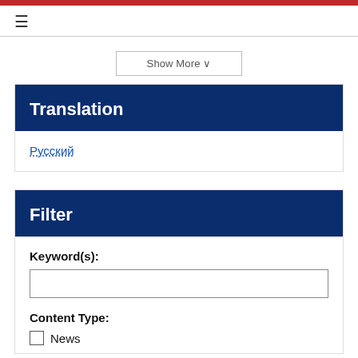≡
Show More v
Translation
Русский
Filter
Keyword(s):
Content Type:
News